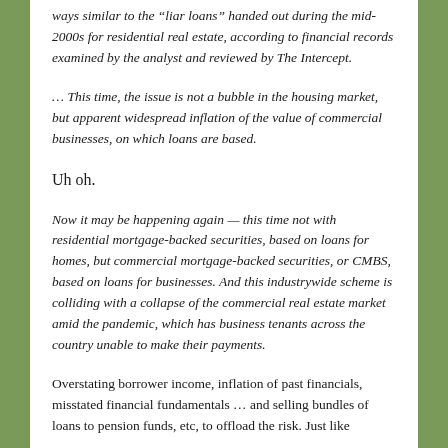ways similar to the “liar loans” handed out during the mid-2000s for residential real estate, according to financial records examined by the analyst and reviewed by The Intercept.
… This time, the issue is not a bubble in the housing market, but apparent widespread inflation of the value of commercial businesses, on which loans are based.
Uh oh.
Now it may be happening again — this time not with residential mortgage-backed securities, based on loans for homes, but commercial mortgage-backed securities, or CMBS, based on loans for businesses. And this industrywide scheme is colliding with a collapse of the commercial real estate market amid the pandemic, which has business tenants across the country unable to make their payments.
Overstating borrower income, inflation of past financials, misstated financial fundamentals … and selling bundles of loans to pension funds, etc, to offload the risk. Just like 2008.